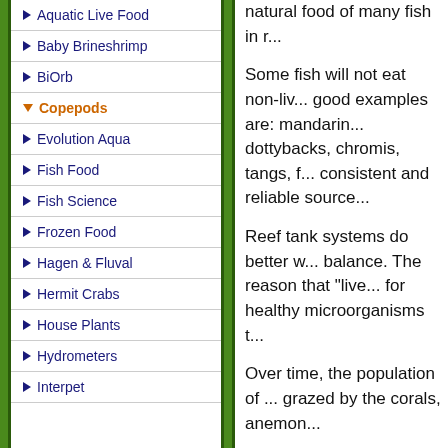Aquatic Live Food
Baby Brineshrimp
BiOrb
Copepods
Evolution Aqua
Fish Food
Fish Science
Frozen Food
Hagen & Fluval
Hermit Crabs
House Plants
Hydrometers
Interpet
natural food of many fish in r...
Some fish will not eat non-liv... good examples are: mandarin... dottybacks, chromis, tangs, f... consistent and reliable source...
Reef tank systems do better w... balance. The reason that "live... for healthy microorganisms t...
Over time, the population of ... grazed by the corals, anemon...
Mangroves & More's coepo...
You will receive a good batch...
If you replenish your system ...